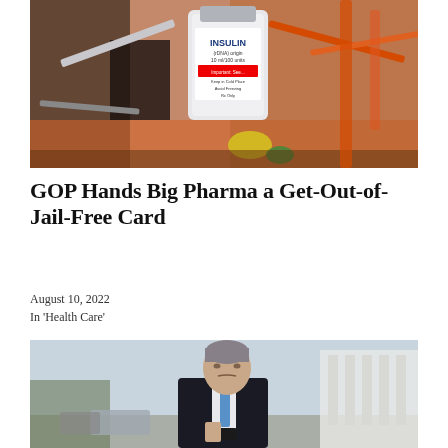[Figure (photo): Close-up photo of insulin vials, syringes, and medical supplies in an orange container, with a label reading INSULIN (rDNA) origin 10ml/100 units, Important: See... Keep in Cold Place, Avoid Freezing, Rx Only]
GOP Hands Big Pharma a Get-Out-of-Jail-Free Card
August 10, 2022
In 'Health Care'
[Figure (photo): Photo of a man in a dark suit and light blue tie standing outside near government buildings, looking downward, holding a phone]